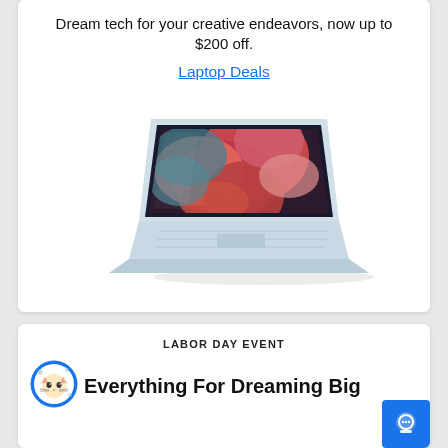Dream tech for your creative endeavors, now up to $200 off.
Laptop Deals
[Figure (photo): A silver laptop (Dell XPS-style) shown at an angle with a colorful abstract wallpaper on screen, viewed from the side-front perspective on a white background.]
LABOR DAY EVENT
Everything For Dreaming Big
[Figure (logo): Cookie-like circular icon with a blue border showing a stylized cat face illustration.]
[Figure (other): Blue chat/headset support button icon in the bottom right.]